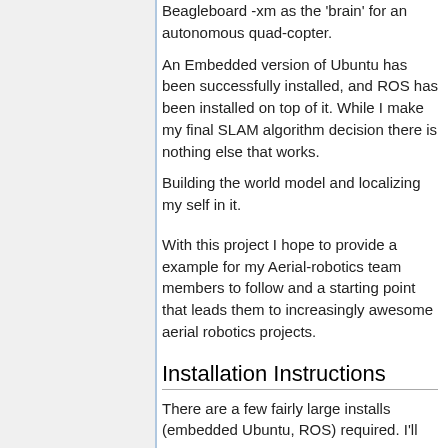Beagleboard -xm as the 'brain' for an autonomous quad-copter.
An Embedded version of Ubuntu has been successfully installed, and ROS has been installed on top of it. While I make my final SLAM algorithm decision there is nothing else that works.
Building the world model and localizing my self in it.
With this project I hope to provide a example for my Aerial-robotics team members to follow and a starting point that leads them to increasingly awesome aerial robotics projects.
Installation Instructions
There are a few fairly large installs (embedded Ubuntu, ROS) required. I'll